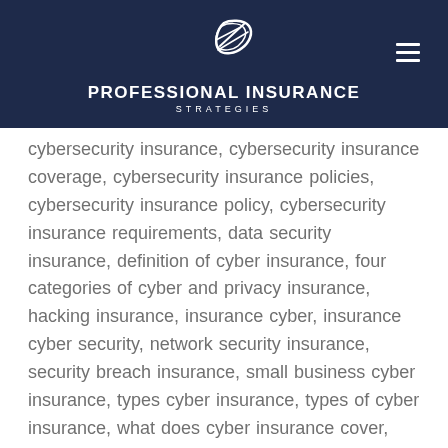PROFESSIONAL INSURANCE STRATEGIES
cybersecurity insurance, cybersecurity insurance coverage, cybersecurity insurance policies, cybersecurity insurance policy, cybersecurity insurance requirements, data security insurance, definition of cyber insurance, four categories of cyber and privacy insurance, hacking insurance, insurance cyber, insurance cyber security, network security insurance, security breach insurance, small business cyber insurance, types cyber insurance, types of cyber insurance, what does cyber insurance cover, what does cyber liability insurance cover, what is cyber insurance, what is cyber insurance cover, what is cyber insurance coverage, what is cyber liability, what is cyber liability coverage, what is cyber liability insurance, what is cyber security insurance, what is cybersecurity insurance, what to look for in cyber insurance coverage